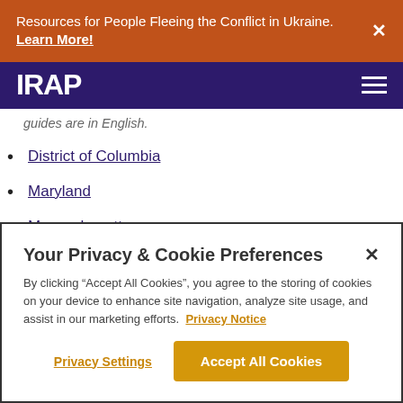Resources for People Fleeing the Conflict in Ukraine. Learn More!
IRAP
guides are in English.
District of Columbia
Maryland
Massachusetts
New Jersey
Your Privacy & Cookie Preferences
By clicking “Accept All Cookies”, you agree to the storing of cookies on your device to enhance site navigation, analyze site usage, and assist in our marketing efforts. Privacy Notice
Privacy Settings
Accept All Cookies